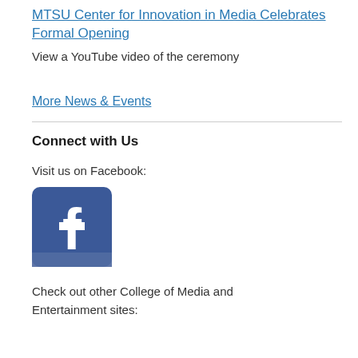MTSU Center for Innovation in Media Celebrates Formal Opening
View a YouTube video of the ceremony
More News & Events
Connect with Us
Visit us on Facebook:
[Figure (logo): Facebook logo — blue rounded square with white lowercase f]
Check out other College of Media and Entertainment sites: